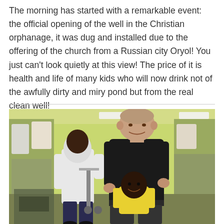The morning has started with a remarkable event: the official opening of the well in the Christian orphanage, it was dug and installed due to the offering of the church from a Russian city Oryol! You just can't look quietly at this view! The price of it is health and life of many kids who will now drink not of the awfully dirty and miry pond but from the real clean well!
[Figure (photo): A man in a black t-shirt leaning toward a young child in a yellow shirt inside what appears to be a clothing store or donation center with colorful walls. Another child in a white hoodie stands nearby looking at clothing items.]